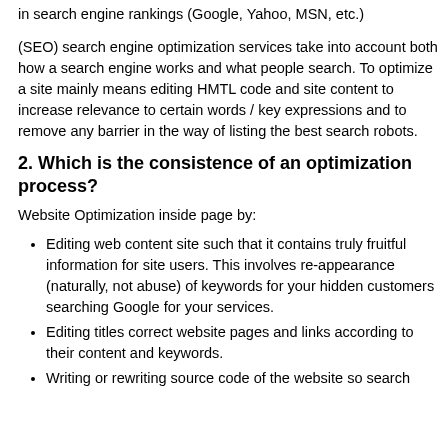in search engine rankings (Google, Yahoo, MSN, etc.)
(SEO) search engine optimization services take into account both how a search engine works and what people search. To optimize a site mainly means editing HMTL code and site content to increase relevance to certain words / key expressions and to remove any barrier in the way of listing the best search robots.
2. Which is the consistence of an optimization process?
Website Optimization inside page by:
Editing web content site such that it contains truly fruitful information for site users. This involves re-appearance (naturally, not abuse) of keywords for your hidden customers searching Google for your services.
Editing titles correct website pages and links according to their content and keywords.
Writing or rewriting source code of the website so search